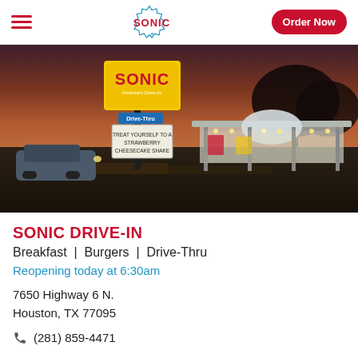SONIC | Order Now
[Figure (photo): Exterior night photo of a Sonic Drive-In restaurant with illuminated signage reading 'SONIC America's Drive-In' and a marquee sign reading 'TREAT YOURSELF TO A STRAWBERRY CHEESECAKE SHAKE'. The restaurant canopy is lit up and the wet parking lot reflects the lights under a dusk sky.]
SONIC DRIVE-IN
Breakfast  |  Burgers  |  Drive-Thru
Reopening today at 6:30am
7650 Highway 6 N.
Houston, TX 77095
(281) 859-4471